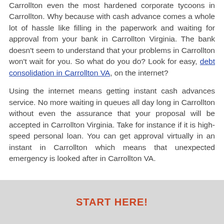The ugly were found to startle a lot of people in Carrollton even the most hardened corporate tycoons in Carrollton. Why because with cash advance comes a whole lot of hassle like filling in the paperwork and waiting for approval from your bank in Carrollton Virginia. The bank doesn't seem to understand that your problems in Carrollton won't wait for you. So what do you do? Look for easy, debt consolidation in Carrollton VA, on the internet?
Using the internet means getting instant cash advances service. No more waiting in queues all day long in Carrollton without even the assurance that your proposal will be accepted in Carrollton Virginia. Take for instance if it is high-speed personal loan. You can get approval virtually in an instant in Carrollton which means that unexpected emergency is looked after in Carrollton VA.
START HERE!